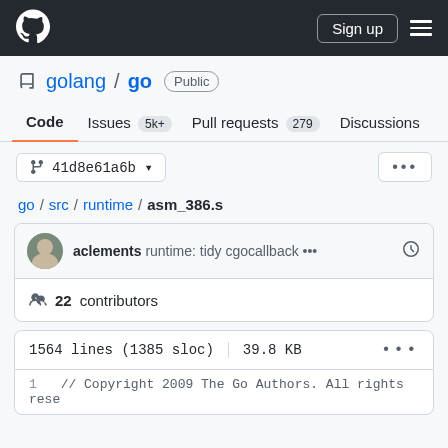GitHub – golang/go – asm_386.s
golang / go  Public
Code  Issues 5k+  Pull requests 279  Discussions
41d8e61a6b ▼  ...
go / src / runtime / asm_386.s
aclements runtime: tidy cgocallback ...
22 contributors
1564 lines (1385 sloc)  39.8 KB  ...
1  // Copyright 2009 The Go Authors. All rights rese